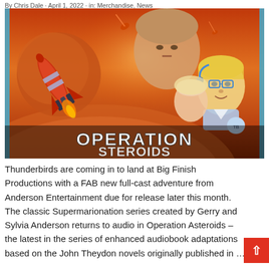By Chris Dale · April 1, 2022 · in: Merchandise, News
[Figure (illustration): Illustration/artwork for 'Operation Asteroids' showing a rocket spacecraft flying in space with asteroids and a planet in background. Characters from Thunderbirds Supermarionation series are visible including a blonde boy and others. Title text 'OPERATION ASTEROIDS' appears at the bottom of the image. Cyan/blue vertical bars on left and right edges.]
Thunderbirds are coming in to land at Big Finish Productions with a FAB new full-cast adventure from Anderson Entertainment due for release later this month. The classic Supermarionation series created by Gerry and Sylvia Anderson returns to audio in Operation Asteroids – the latest in the series of enhanced audiobook adaptations based on the John Theydon novels originally published in …